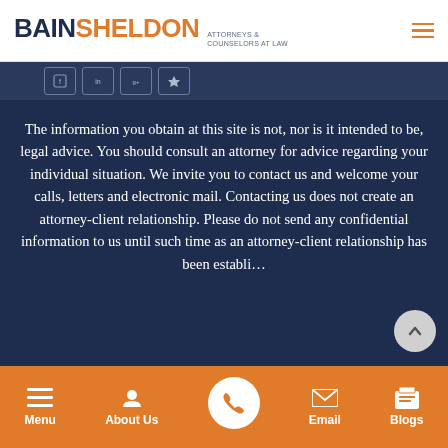[Figure (logo): BainSheldon Attorneys & Counselors at Law logo with hamburger menu icon]
[Figure (infographic): Social media icon strip with four square icon buttons on dark blue background]
The information you obtain at this site is not, nor is it intended to be, legal advice. You should consult an attorney for advice regarding your individual situation. We invite you to contact us and welcome your calls, letters and electronic mail. Contacting us does not create an attorney-client relationship. Please do not send any confidential information to us until such time as an attorney-client relationship has been establi...
Menu | About Us | [Phone] | Email | Blogs